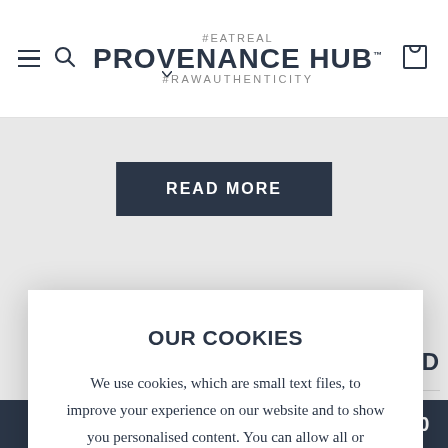[Figure (screenshot): Provenance Hub website header with hamburger menu, search icon, logo, and cart icon]
READ MORE
OUR COOKIES
We use cookies, which are small text files, to improve your experience on our website and to show you personalised content. You can allow all or manage them individually.
Manage Cookies
Allow all
HASED
S OVER £30